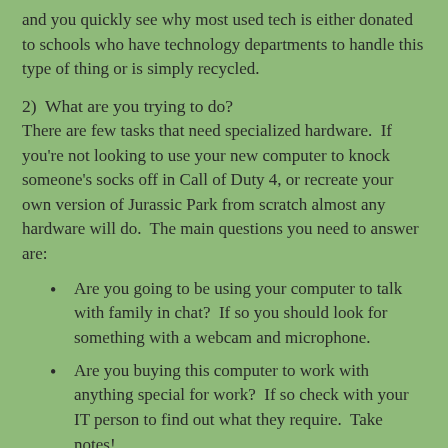and you quickly see why most used tech is either donated to schools who have technology departments to handle this type of thing or is simply recycled.
2)  What are you trying to do?
There are few tasks that need specialized hardware.  If you're not looking to use your new computer to knock someone's socks off in Call of Duty 4, or recreate your own version of Jurassic Park from scratch almost any hardware will do.  The main questions you need to answer are:
Are you going to be using your computer to talk with family in chat?  If so you should look for something with a webcam and microphone.
Are you buying this computer to work with anything special for work?  If so check with your IT person to find out what they require.  Take notes!
Do you listen to alot of music or watch a lot of videos?  You'll want really good speakers.  Speakers really are not optional anymore but are still